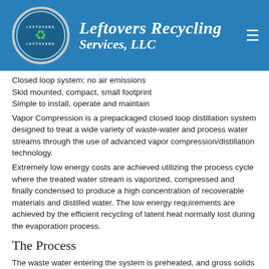Leftovers Recycling Services, LLC
Closed loop system; no air emissions
Skid mounted, compact, small footprint
Simple to install, operate and maintain
Vapor Compression is a prepackaged closed loop distillation system designed to treat a wide variety of waste-water and process water streams through the use of advanced vapor compression/distillation technology.
Extremely low energy costs are achieved utilizing the process cycle where the treated water stream is vaporized, compressed and finally condensed to produce a high concentration of recoverable materials and distilled water. The low energy requirements are achieved by the efficient recycling of latent heat normally lost during the evaporation process.
The Process
The waste water entering the system is preheated, and gross solids removed.
The waste water is circulated through a specially designed plate and frame heat exchanger where the water is boiled into vapor. A